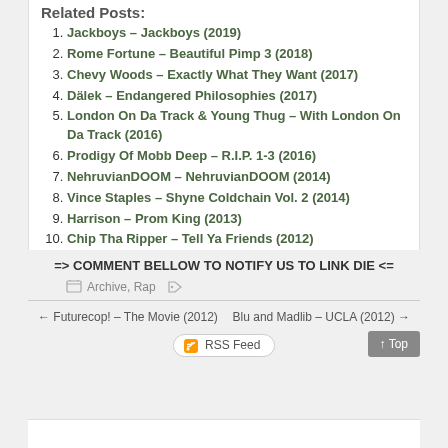Related Posts:
Jackboys – Jackboys (2019)
Rome Fortune – Beautiful Pimp 3 (2018)
Chevy Woods – Exactly What They Want (2017)
Dälek – Endangered Philosophies (2017)
London On Da Track & Young Thug – With London On Da Track (2016)
Prodigy Of Mobb Deep – R.I.P. 1-3 (2016)
NehruvianDOOM – NehruvianDOOM (2014)
Vince Staples – Shyne Coldchain Vol. 2 (2014)
Harrison – Prom King (2013)
Chip Tha Ripper – Tell Ya Friends (2012)
=> COMMENT BELLOW TO NOTIFY US TO LINK DIE <=
Archive, Rap
← Futurecop! – The Movie (2012)    Blu and Madlib – UCLA (2012) →
RSS Feed
↑ Top